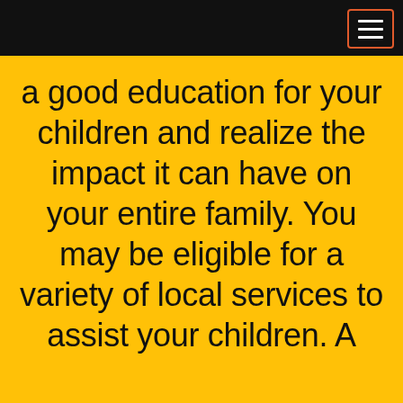a good education for your children and realize the impact it can have on your entire family. You may be eligible for a variety of local services to assist your children. A